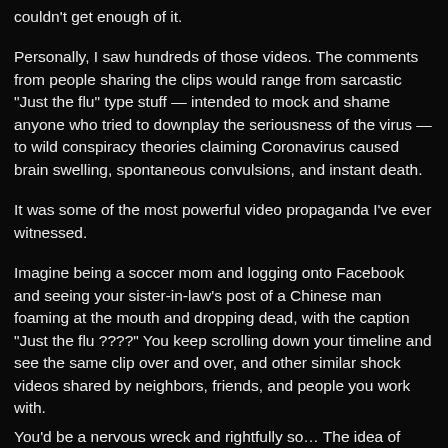couldn't get enough of it.
Personally, I saw hundreds of those videos. The comments from people sharing the clips would range from sarcastic "Just the flu" type stuff — intended to mock and shame anyone who tried to downplay the seriousness of the virus — to wild conspiracy theories claiming Coronavirus caused brain swelling, spontaneous convulsions, and instant death.
It was some of the most powerful video propaganda I've ever witnessed.
Imagine being a soccer mom and logging onto Facebook and seeing your sister-in-law's post of a Chinese man foaming at the mouth and dropping dead, with the caption "Just the flu ????" You keep scrolling down your timeline and see the same clip over and over, and other similar shock videos shared by neighbors, friends, and people you work with.
You'd be a nervous wreck and rightfully so… The idea of